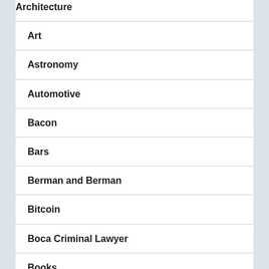Architecture
Art
Astronomy
Automotive
Bacon
Bars
Berman and Berman
Bitcoin
Boca Criminal Lawyer
Books